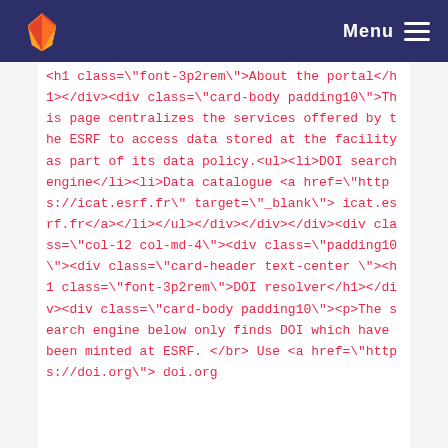Menu
<h1 class="font-3p2rem">About the portal</h1></div><div class="card-body padding10">This page centralizes the services offered by the ESRF to access data stored at the facility as part of its data policy.<ul><li>DOI search engine</li><li>Data catalogue <a href="https://icat.esrf.fr" target="_blank"> icat.esrf.fr</a></li></ul></div></div></div><div class="col-12 col-md-4"><div class="padding10"><div class="card-header text-center "><h1 class="font-3p2rem">DOI resolver</h1></div><div class="card-body padding10"><p>The search engine below only finds DOI which have been minted at ESRF. </br> Use <a href="https://doi.org"> doi.org